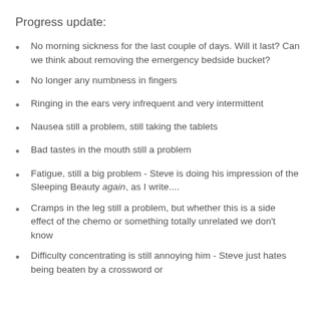Progress update:
No morning sickness for the last couple of days.  Will it last?  Can we think about removing the emergency bedside bucket?
No longer any numbness in fingers
Ringing in the ears very infrequent and very intermittent
Nausea still a problem, still taking the tablets
Bad tastes in the mouth still a problem
Fatigue, still a big problem - Steve is doing his impression of the Sleeping Beauty again, as I write....
Cramps in the leg still a problem, but whether this is a side effect of the chemo or something totally unrelated we don't know
Difficulty concentrating is still annoying him - Steve just hates being beaten by a crossword or